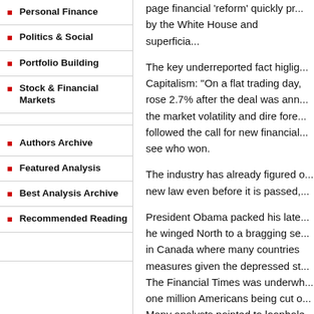Personal Finance
Politics & Social
Portfolio Building
Stock & Financial Markets
Authors Archive
Featured Analysis
Best Analysis Archive
Recommended Reading
page financial 'reform' quickly pr... by the White House and superficia...
The key underreported fact higlig... Capitalism: "On a flat trading day, rose 2.7% after the deal was ann... the market volatility and dire fore... followed the call for new financial... see who won.
The industry has already figured o... new law even before it is passed,...
President Obama packed his late... he winged North to a bragging se... in Canada where many countries measures given the depressed st... The Financial Times was underwh... one million Americans being cut o... Many analysts pointed to loophole...